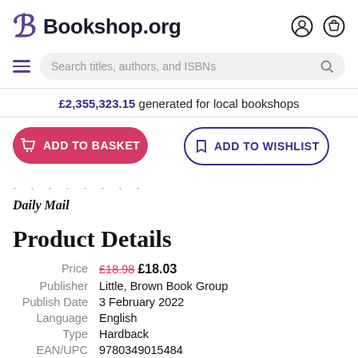Bookshop.org
Search titles, authors, and ISBNs
£2,355,323.15 generated for local bookshops
ADD TO BASKET
ADD TO WISHLIST
Daily Mail
Product Details
|  |  |
| --- | --- |
| Price | £18.98  £18.03 |
| Publisher | Little, Brown Book Group |
| Publish Date | 3 February 2022 |
| Language | English |
| Type | Hardback |
| EAN/UPC | 9780349015484 |